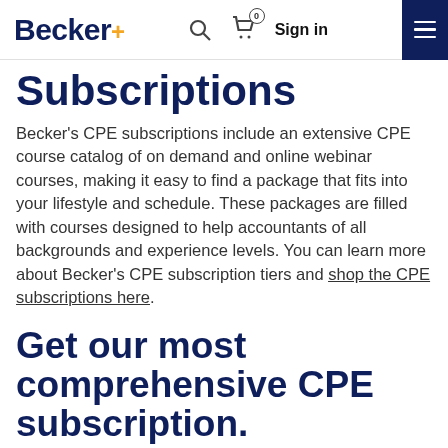Becker+ | Search | Cart 0 | Sign in | Menu
Subscriptions
Becker's CPE subscriptions include an extensive CPE course catalog of on demand and online webinar courses, making it easy to find a package that fits into your lifestyle and schedule. These packages are filled with courses designed to help accountants of all backgrounds and experience levels. You can learn more about Becker's CPE subscription tiers and shop the CPE subscriptions here.
Get our most comprehensive CPE subscription.